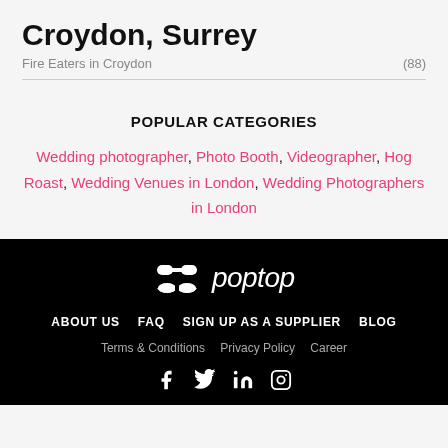Croydon, Surrey
Fire Eaters in Croydon (88)
POPULAR CATEGORIES
Wedding photographer, Photo Booth, Videographer, Hog Roast, Wedding Venues in London, Wedding Photographers in London
[Figure (logo): Poptop logo in white on black background with sunglasses icon]
ABOUT US  FAQ  SIGN UP AS A SUPPLIER  BLOG
Terms & Conditions  Privacy Policy  Career
[Social icons: Facebook, Twitter, LinkedIn, Instagram]